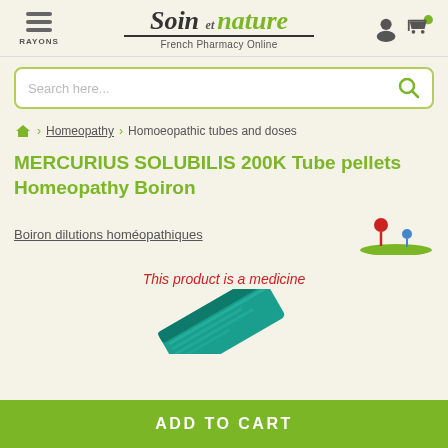Soin et nature — French Pharmacy Online
Search here...
Homeopathy › Homoeopathic tubes and doses
MERCURIUS SOLUBILIS 200K Tube pellets Homeopathy Boiron
Boiron dilutions homéopathiques
[Figure (illustration): Small decorative pin/location icon illustration with red and blue pins on green grass]
This product is a medicine
[Figure (photo): Boiron homeopathy tube pellets product packaging in teal/green color, partially visible at bottom]
ADD TO CART